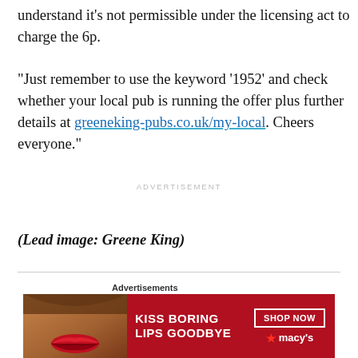understand it’s not permissible under the licensing act to charge the 6p.

“Just remember to use the keyword ‘1952’ and check whether your local pub is running the offer plus further details at greeneking-pubs.co.uk/my-local. Cheers everyone.”
ADVERTISEMENT
(Lead image: Greene King)
[Figure (infographic): Advertisement banner: KISS BORING LIPS GOODBYE with SHOP NOW button and Macy's logo]
Advertisements